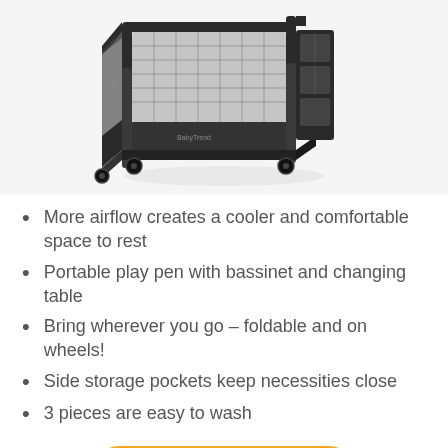[Figure (photo): Dark gray portable baby play pen / play yard with bassinet and changing table, mesh sides, side storage organizer pockets, and wheels on bottom corners, shown from an angled top-down perspective on a white background.]
More airflow creates a cooler and comfortable space to rest
Portable play pen with bassinet and changing table
Bring wherever you go – foldable and on wheels!
Side storage pockets keep necessities close
3 pieces are easy to wash
View On Amazon